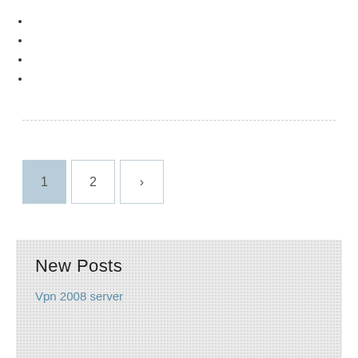[Figure (other): Pagination controls with page 1 (active, light blue background), page 2, and a next arrow button]
New Posts
Vpn 2008 server